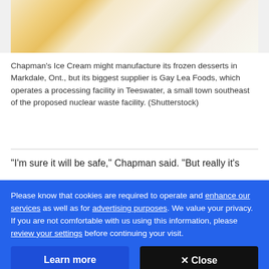[Figure (photo): Close-up photo of ice cream scoops, creamy yellow and white colors]
Chapman's Ice Cream might manufacture its frozen desserts in Markdale, Ont., but its biggest supplier is Gay Lea Foods, which operates a processing facility in Teeswater, a small town southeast of the proposed nuclear waste facility. (Shutterstock)
"I'm sure it will be safe," Chapman said. "But really it's
Please know that cookies are required to operate and enhance our services as well as for advertising purposes. We value your privacy. If you are not comfortable with us using this information, please review your settings before continuing your visit.